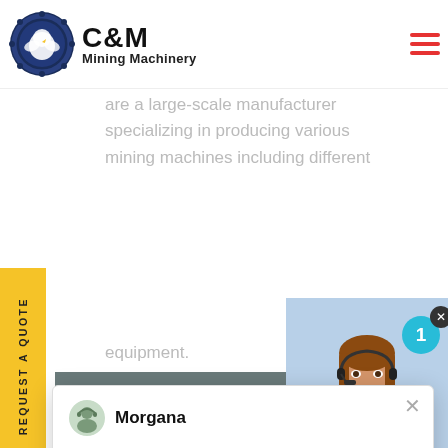[Figure (screenshot): C&M Mining Machinery website screenshot showing header logo with gear/eagle emblem, body text about manufacturing, a live chat popup from agent 'Morgana', a vertical yellow REQUEST A QUOTE tab, a factory machinery photo, and a chat widget with agent photo and 'Click to Chat' button.]
C&M Mining Machinery
are a large-scale manufacturer specializing in producing various mining machines including different
Morgana
Hello, I am Morgana, I am very glad to talk with you!
equipment.
Click to Chat
Enquiry